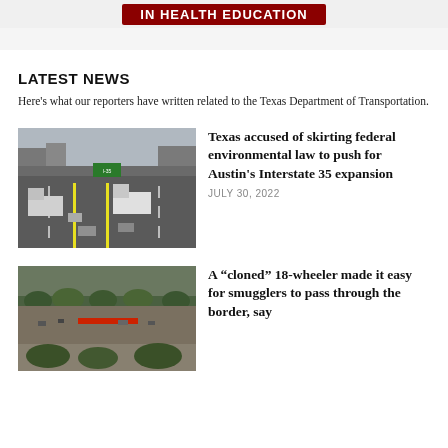in health education
LATEST NEWS
Here's what our reporters have written related to the Texas Department of Transportation.
[Figure (photo): Aerial view of a busy highway with trucks and cars under overpasses]
Texas accused of skirting federal environmental law to push for Austin's Interstate 35 expansion
JULY 30, 2022
[Figure (photo): Aerial view of a road with people and vehicles along a tree-lined street]
A “cloned” 18-wheeler made it easy for smugglers to pass through the border, say